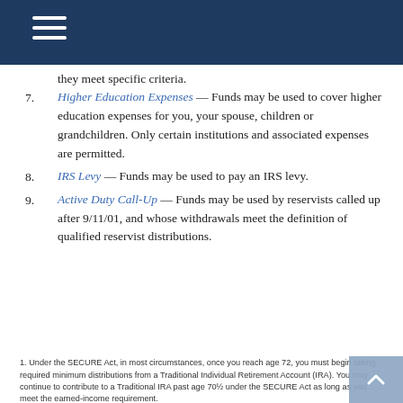they meet specific criteria.
Higher Education Expenses — Funds may be used to cover higher education expenses for you, your spouse, children or grandchildren. Only certain institutions and associated expenses are permitted.
IRS Levy — Funds may be used to pay an IRS levy.
Active Duty Call-Up — Funds may be used by reservists called up after 9/11/01, and whose withdrawals meet the definition of qualified reservist distributions.
1. Under the SECURE Act, in most circumstances, once you reach age 72, you must begin taking required minimum distributions from a Traditional Individual Retirement Account (IRA). You may continue to contribute to a Traditional IRA past age 70½ under the SECURE Act as long as you meet the earned-income requirement.
2. Under the SECURE Act, distributions to a non-spouse beneficiary are